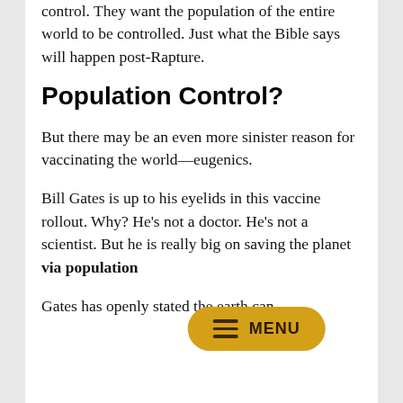control. They want the population of the entire world to be controlled. Just what the Bible says will happen post-Rapture.
Population Control?
But there may be an even more sinister reason for vaccinating the world—eugenics.
Bill Gates is up to his eyelids in this vaccine rollout. Why? He's not a doctor. He's not a scientist. But he is really big on saving the planet via population
[Figure (other): Orange pill-shaped MENU button overlay with three horizontal lines (hamburger icon) and the word MENU]
Gates has openly stated the earth can